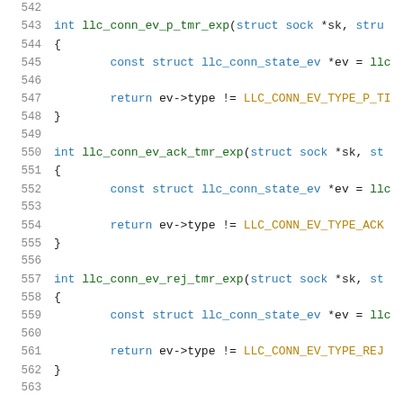[Figure (screenshot): Source code listing showing C functions llc_conn_ev_p_tmr_exp, llc_conn_ev_ack_tmr_exp, and llc_conn_ev_rej_tmr_exp with line numbers 542-563]